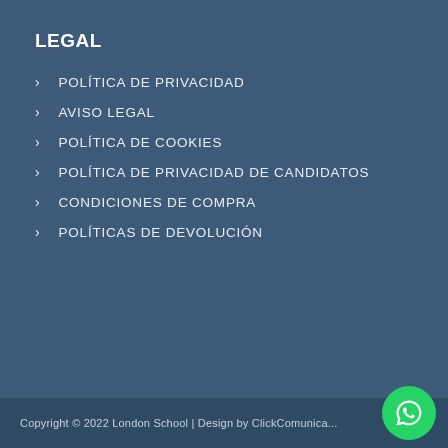LEGAL
POLÍTICA DE PRIVACIDAD
AVISO LEGAL
POLÍTICA DE COOKIES
POLÍTICA DE PRIVACIDAD DE CANDIDATOS
CONDICIONES DE COMPRA
POLÍTICAS DE DEVOLUCIÓN
Copyright © 2022 London School | Design by ClickComunica...